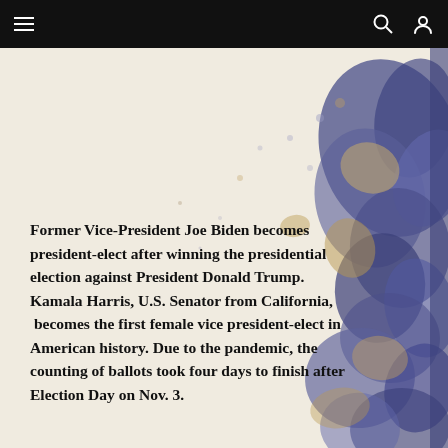Navigation bar with menu, search, and account icons
[Figure (illustration): Abstract watercolor painting with blue and tan/gold inkblot splatters on a cream/beige background, covering the right portion of the image area]
Former Vice-President Joe Biden becomes president-elect after winning the presidential election against President Donald Trump. Kamala Harris, U.S. Senator from California, becomes the first female vice president-elect in American history. Due to the pandemic, the counting of ballots took four days to finish after Election Day on Nov. 3.